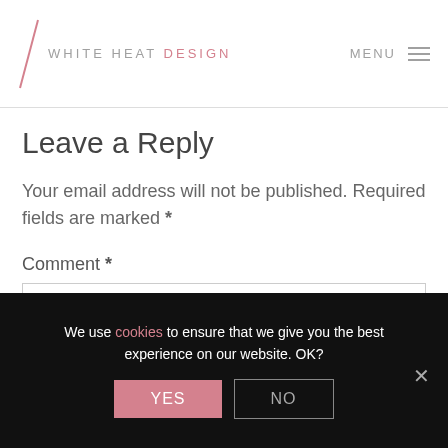WHITE HEAT DESIGN  MENU
Leave a Reply
Your email address will not be published. Required fields are marked *
Comment *
We use cookies to ensure that we give you the best experience on our website. OK?